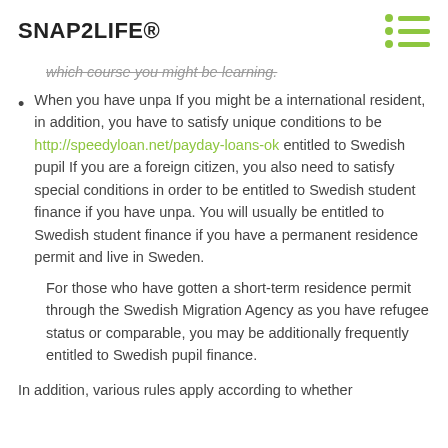SNAP2LIFE®
which course you might be learning.
When you have unpa If you might be a international resident, in addition, you have to satisfy unique conditions to be http://speedyloan.net/payday-loans-ok entitled to Swedish pupil If you are a foreign citizen, you also need to satisfy special conditions in order to be entitled to Swedish student finance if you have unpa. You will usually be entitled to Swedish student finance if you have a permanent residence permit and live in Sweden.
For those who have gotten a short-term residence permit through the Swedish Migration Agency as you have refugee status or comparable, you may be additionally frequently entitled to Swedish pupil finance.
In addition, various rules apply according to whether